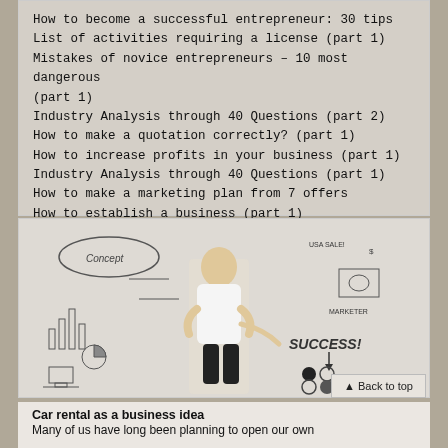How to become a successful entrepreneur: 30 tips
List of activities requiring a license (part 1)
Mistakes of novice entrepreneurs – 10 most dangerous (part 1)
Industry Analysis through 40 Questions (part 2)
How to make a quotation correctly? (part 1)
How to increase profits in your business (part 1)
Industry Analysis through 40 Questions (part 1)
How to make a marketing plan from 7 offers
How to establish a business (part 1)
Copying a business, or how to capitalize on other people's ideas (part 1)
[Figure (photo): Woman in business attire standing in front of a whiteboard covered with business concept sketches including the word SUCCESS, charts, icons, and text. Business planning infographic illustration.]
Car rental as a business idea
Many of us have long been planning to open our own